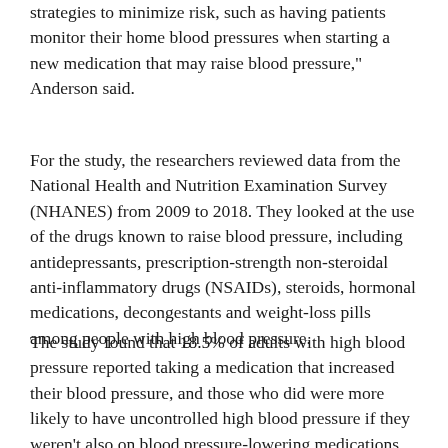strategies to minimize risk, such as having patients monitor their home blood pressures when starting a new medication that may raise blood pressure," Anderson said.
For the study, the researchers reviewed data from the National Health and Nutrition Examination Survey (NHANES) from 2009 to 2018. They looked at the use of the drugs known to raise blood pressure, including antidepressants, prescription-strength non-steroidal anti-inflammatory drugs (NSAIDs), steroids, hormonal medications, decongestants and weight-loss pills among people with high blood pressure.
The study found that 18.5% of adults with high blood pressure reported taking a medication that increased their blood pressure, and those who did were more likely to have uncontrolled high blood pressure if they weren't also on blood pressure-lowering medications.